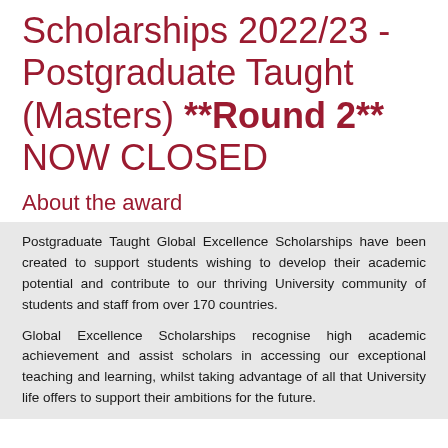Scholarships 2022/23 - Postgraduate Taught (Masters) **Round 2** NOW CLOSED
About the award
Postgraduate Taught Global Excellence Scholarships have been created to support students wishing to develop their academic potential and contribute to our thriving University community of students and staff from over 170 countries.
Global Excellence Scholarships recognise high academic achievement and assist scholars in accessing our exceptional teaching and learning, whilst taking advantage of all that University life offers to support their ambitions for the future.